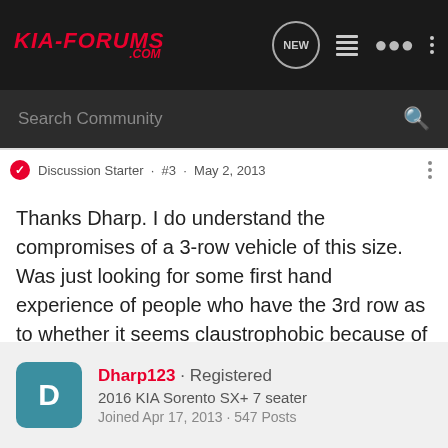KIA-FORUMS.COM
Search Community
Discussion Starter · #3 · May 2, 2013
Thanks Dharp. I do understand the compromises of a 3-row vehicle of this size. Was just looking for some first hand experience of people who have the 3rd row as to whether it seems claustrophobic because of the lack of visibility.

Kipa
Dharp123 · Registered
2016 KIA Sorento SX+ 7 seater
Joined Apr 17, 2013 · 547 Posts